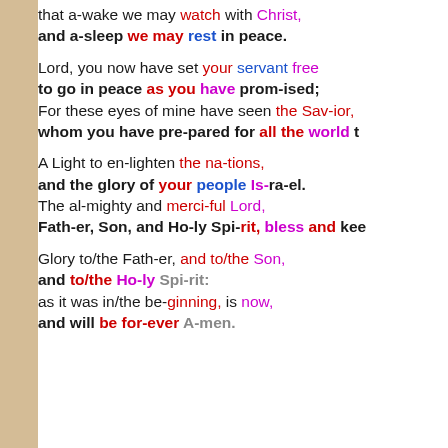that a-wake we may watch with Christ, and a-sleep we may rest in peace.
Lord, you now have set your servant free to go in peace as you have prom-ised; For these eyes of mine have seen the Sav-ior, whom you have pre-pared for all the world to
A Light to en-lighten the na-tions, and the glory of your people Is-ra-el. The al-mighty and merci-ful Lord, Fath-er, Son, and Ho-ly Spi-rit, bless and kee
Glory to/the Fath-er, and to/the Son, and to/the Ho-ly Spi-rit: as it was in/the be-ginning, is now, and will be for-ever A-men.